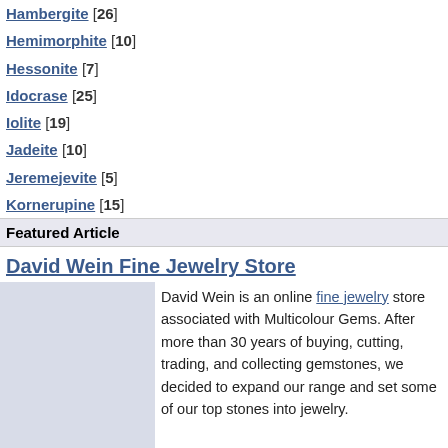Hambergite [26]
Hemimorphite [10]
Hessonite [7]
Idocrase [25]
Iolite [19]
Jadeite [10]
Jeremejevite [5]
Kornerupine [15]
Tanzanite [502]
Topaz [113]
Tourmaline [266 / ...]
Triplite [25]
Tsavorite [635 / 2]
Turquoise [83 / 2]
Vayrynenite [4]
Zircon [369 / 1]
Featured Article
Columns
David Wein Fine Jewelry Store
David Wein is an online fine jewelry store associated with Multicolour Gems. After more than 30 years of buying, cutting, trading, and collecting gemstones, we decided to expand our range and set some of our top stones into jewelry.

With a commitment to quality and a focus on detail, our mission has been to create a variety of original and classical styles that reflect our strengths and accessibility to a broad range of colored and color changing stones from Africa and Brazil.
Giant m... in East...
by David V... Mined a... in Mahen... crystal we... group of m...
Rare g... discov...
by David V... Sharp m... mineral s... at the Tuc... out to be... sparingly...
Giant s... discov...